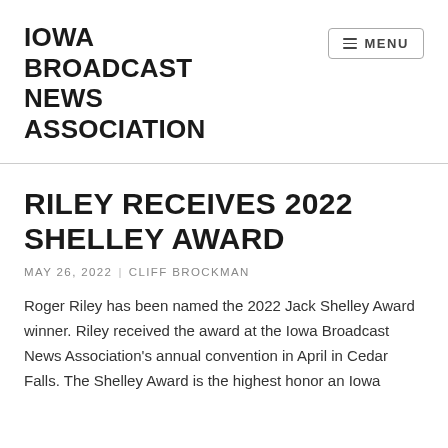IOWA BROADCAST NEWS ASSOCIATION
RILEY RECEIVES 2022 SHELLEY AWARD
MAY 26, 2022 | CLIFF BROCKMAN
Roger Riley has been named the 2022 Jack Shelley Award winner. Riley received the award at the Iowa Broadcast News Association's annual convention in April in Cedar Falls. The Shelley Award is the highest honor an Iowa